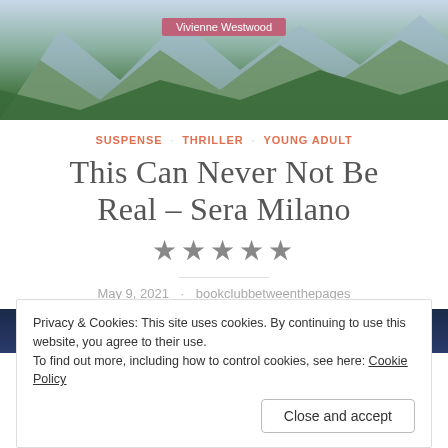[Figure (photo): Book cover top portion showing mountain landscape with snow-capped peaks and green forest, with a pink badge reading 'Vivienne Westwood']
SUSPENSE · THRILLER · YOUNG ADULT
This Can Never Not Be Real – Sera Milano
★★★★★
May 9, 2021 · bookclubbetweenthepages
[Figure (photo): Partial book cover bottom showing dark blue background with text 'NEVER']
Privacy & Cookies: This site uses cookies. By continuing to use this website, you agree to their use.
To find out more, including how to control cookies, see here: Cookie Policy